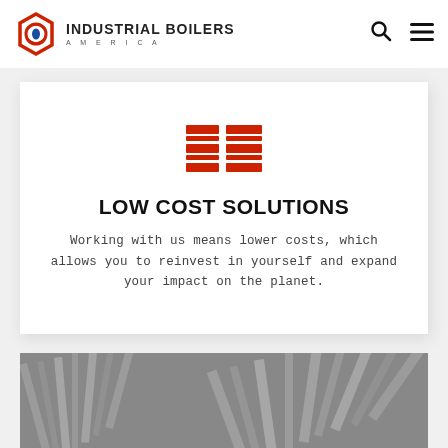[Figure (logo): Industrial Boilers America logo: red hexagonal icon with blue droplet, company name in bold black with AMERICA in spaced letters]
[Figure (infographic): Red grid/boiler icon consisting of two groups of horizontal rectangular bars arranged in a grid pattern]
LOW COST SOLUTIONS
Working with us means lower costs, which allows you to reinvest in yourself and expand your impact on the planet.
[Figure (photo): Industrial boiler tubes or heat exchanger components arranged in metallic fan/array pattern, black and white photo]